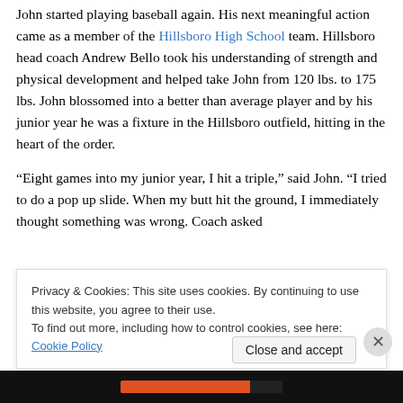John started playing baseball again. His next meaningful action came as a member of the Hillsboro High School team. Hillsboro head coach Andrew Bello took his understanding of strength and physical development and helped take John from 120 lbs. to 175 lbs. John blossomed into a better than average player and by his junior year he was a fixture in the Hillsboro outfield, hitting in the heart of the order.
“Eight games into my junior year, I hit a triple,” said John. “I tried to do a pop up slide. When my butt hit the ground, I immediately thought something was wrong. Coach asked
Privacy & Cookies: This site uses cookies. By continuing to use this website, you agree to their use.
To find out more, including how to control cookies, see here: Cookie Policy